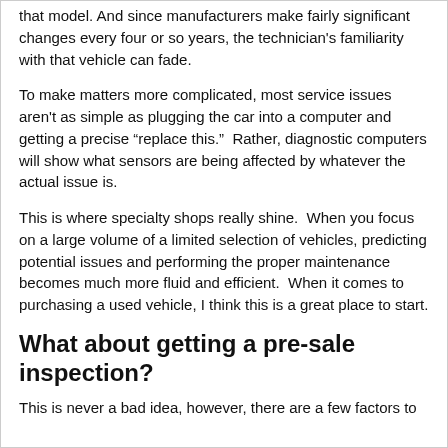that model. And since manufacturers make fairly significant changes every four or so years, the technician's familiarity with that vehicle can fade.
To make matters more complicated, most service issues aren't as simple as plugging the car into a computer and getting a precise “replace this.”  Rather, diagnostic computers will show what sensors are being affected by whatever the actual issue is.
This is where specialty shops really shine.  When you focus on a large volume of a limited selection of vehicles, predicting potential issues and performing the proper maintenance becomes much more fluid and efficient.  When it comes to purchasing a used vehicle, I think this is a great place to start.
What about getting a pre-sale inspection?
This is never a bad idea, however, there are a few factors to